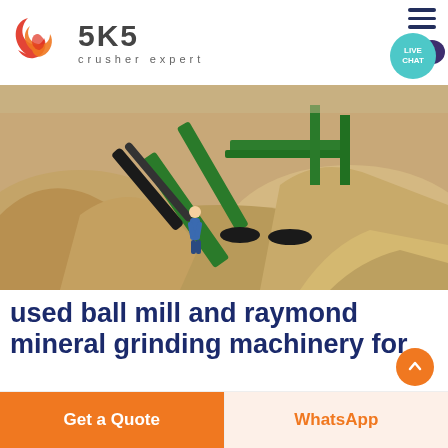[Figure (logo): SKS Crusher Expert logo — stylized red/orange circular design with '5K5' bold text and 'crusher expert' subtitle]
[Figure (photo): Mining/quarrying site with large green industrial crushing/screening machine, sandy gravel piles, and a worker in blue coveralls walking in the foreground]
used ball mill and raymond mineral grinding machinery for
Get a Quote
WhatsApp